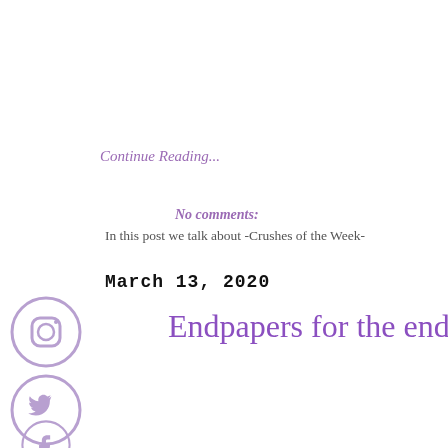Continue Reading...
No comments:
In this post we talk about -Crushes of the Week-
March 13, 2020
[Figure (logo): Instagram icon - circle with camera outline in light purple]
Endpapers for the end of your w
[Figure (logo): Twitter bird icon in circle, light purple]
[Figure (logo): Facebook icon in circle, light purple, partially visible]